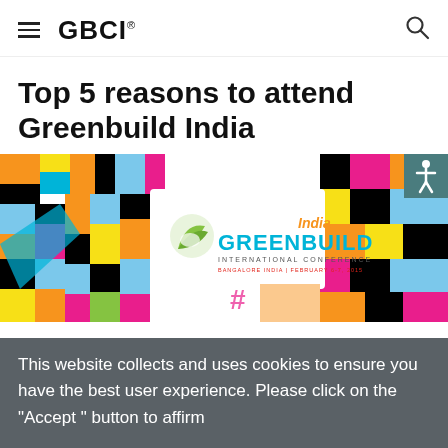GBCI
Top 5 reasons to attend Greenbuild India
[Figure (illustration): Greenbuild India International Conference colorful geometric map-style banner with the Greenbuild India logo in the center. Text reads: GREENBUILD India INTERNATIONAL CONFERENCE, BANGALORE INDIA | FEBRUARY 6-7, 2015]
This website collects and uses cookies to ensure you have the best user experience. Please click on the "Accept " button to affirm